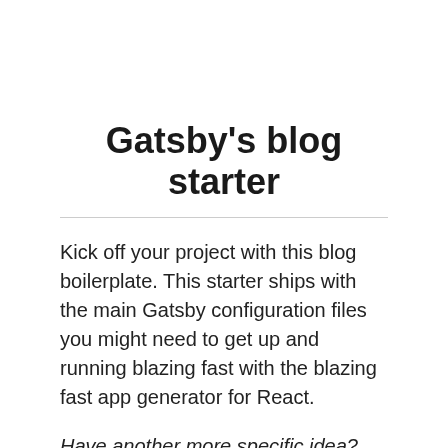Gatsby's blog starter
Kick off your project with this blog boilerplate. This starter ships with the main Gatsby configuration files you might need to get up and running blazing fast with the blazing fast app generator for React.
Have another more specific idea? You may want to check out our vibrant collection of official and